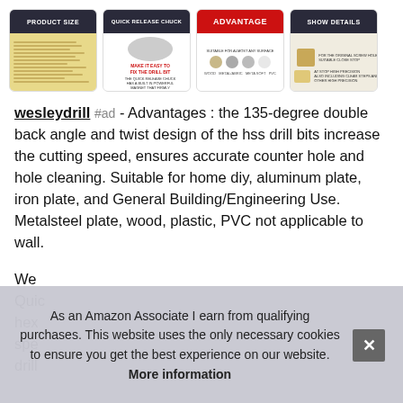[Figure (photo): Four product thumbnail images: Product Size (drill bits lineup), Quick Release Chuck, Advantage (suitable for surfaces), Show Details]
wesleydrill #ad - Advantages : the 135-degree double back angle and twist design of the hss drill bits increase the cutting speed, ensures accurate counter hole and hole cleaning. Suitable for home diy, aluminum plate, iron plate, and General Building/Engineering Use. Metalsteel plate, wood, plastic, PVC not applicable to wall.
We Quic hex spe drill
As an Amazon Associate I earn from qualifying purchases. This website uses the only necessary cookies to ensure you get the best experience on our website. More information